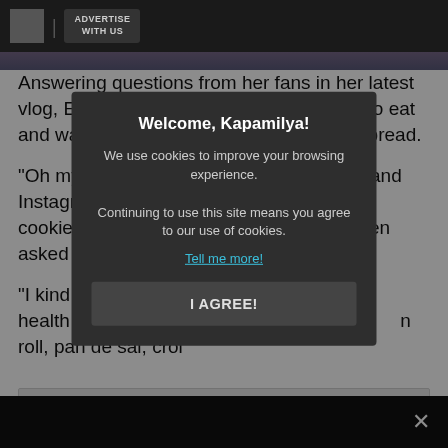ADVERTISE WITH US
Answering questions from her fans in her latest vlog, Evangelista admitted that she loves to eat and watch videos about food, particularly bread.
"Oh my God. I do love scrolling on TikTok and Instagram for reels where they make food, cookies, bread. I love bread," she said when asked about her guilty pleasure.
"I kind of s... ed to be very health... ive in every Satu... n roll, pan de sal, croi...
[Figure (screenshot): Cookie consent modal dialog overlay on a news website. Modal title: 'Welcome, Kapamilya!'. Body text: 'We use cookies to improve your browsing experience. Continuing to use this site means you agree to our use of cookies.' Link: 'Tell me more!'. Button: 'I AGREE!']